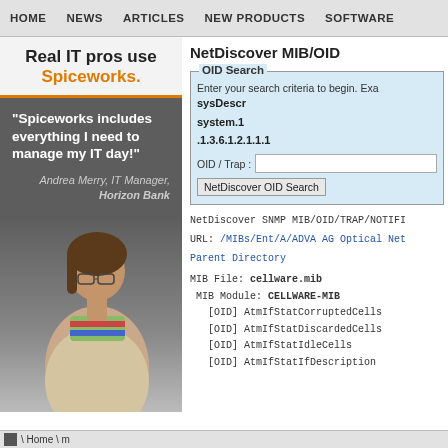HOME | NEWS | ARTICLES | NEW PRODUCTS | SOFTWARE
[Figure (photo): Spiceworks advertisement with woman IT manager photo. Text: Real IT pros use Spiceworks. Quote: Spiceworks includes everything I need to manage my IT day! Andrea Merry, IT Manager, Horizon Bank]
NetDiscover MIB/OID
OID Search
Enter your search criteria to begin. Examples: sysDescr system.1 .1.3.6.1.2.1.1.1
OID / Trap : [input field] NetDiscover OID Search [button]
NetDiscover SNMP MIB/OID/TRAP/NOTIFI
URL: /MIBs/Ent/A/ADVA AG Optical Net
Parent Directory
MIB File: cellware.mib
 MIB Module: CELLWARE-MIB
   [OID] AtmIfStatCorruptedCells
   [OID] AtmIfStatDiscardedCells
   [OID] AtmIfStatIdleCells
   [OID] AtmIfStatIfDescription
\ Home \ m